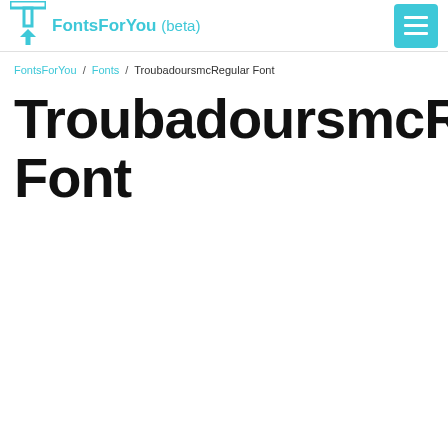FontsForYou (beta)
FontsForYou / Fonts / TroubadoursmcRegular Font
TroubadoursmcRegular Font